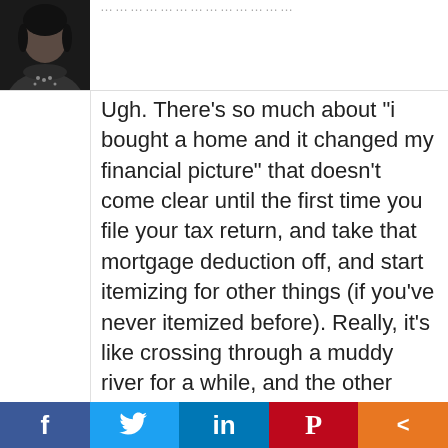[Figure (photo): Avatar/profile photo of a person, dark background, top-left corner of the comment block]
Ugh. There’s so much about “i bought a home and it changed my financial picture” that doesn’t come clear until the first time you file your tax return, and take that mortgage deduction off, and start itemizing for other things (if you’ve never itemized before). Really, it’s like crossing through a muddy river for a while, and the other bank is JUST over there. It’s muddy now, and your picture will be much clearer in, um about 10 months or so, I’m guessing.
That said, you’re biggest asset are your EYES! You watch EVERYTHING, and you’re so good at seeing the forest through the trees (no pun intended on your new home).
[Figure (infographic): Social sharing bar at the bottom with icons for Facebook (f), Twitter (bird), LinkedIn (in), Pinterest (P), and Share (<)]